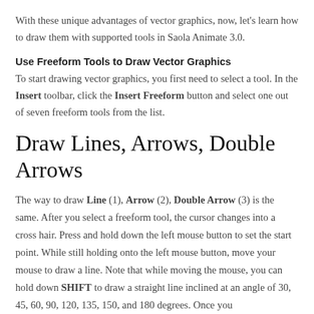With these unique advantages of vector graphics, now, let's learn how to draw them with supported tools in Saola Animate 3.0.
Use Freeform Tools to Draw Vector Graphics
To start drawing vector graphics, you first need to select a tool. In the Insert toolbar, click the Insert Freeform button and select one out of seven freeform tools from the list.
Draw Lines, Arrows, Double Arrows
The way to draw Line (1), Arrow (2), Double Arrow (3) is the same. After you select a freeform tool, the cursor changes into a cross hair. Press and hold down the left mouse button to set the start point. While still holding onto the left mouse button, move your mouse to draw a line. Note that while moving the mouse, you can hold down SHIFT to draw a straight line inclined at an angle of 30, 45, 60, 90, 120, 135, 150, and 180 degrees. Once you